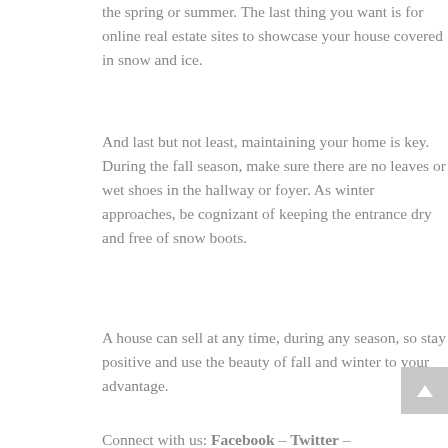the spring or summer. The last thing you want is for online real estate sites to showcase your house covered in snow and ice.
And last but not least, maintaining your home is key. During the fall season, make sure there are no leaves or wet shoes in the hallway or foyer. As winter approaches, be cognizant of keeping the entrance dry and free of snow boots.
A house can sell at any time, during any season, so stay positive and use the beauty of fall and winter to your advantage.
Connect with us: Facebook – Twitter –